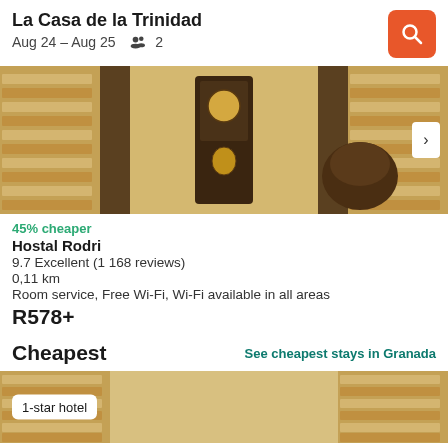La Casa de la Trinidad
Aug 24 – Aug 25   2
[Figure (photo): Interior photo of a hotel lobby with brick walls and a dark wooden grandfather clock]
45% cheaper
Hostal Rodri
9.7 Excellent (1 168 reviews)
0,11 km
Room service, Free Wi-Fi, Wi-Fi available in all areas
R578+
Cheapest
See cheapest stays in Granada
[Figure (photo): Bottom portion of a hotel image with brick walls, with a 1-star hotel badge overlay]